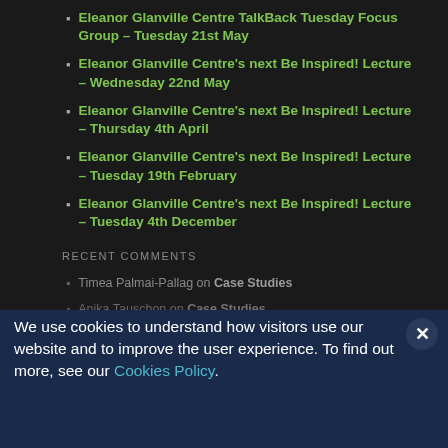Eleanor Glanville Centre TalkBack Tuesday Focus Group – Tuesday 21st May
Eleanor Glanville Centre's next Be Inspired! Lecture – Wednesday 22nd May
Eleanor Glanville Centre's next Be Inspired! Lecture – Thursday 4th April
Eleanor Glanville Centre's next Be Inspired! Lecture – Tuesday 19th February
Eleanor Glanville Centre's next Be Inspired! Lecture – Tuesday 4th December
RECENT COMMENTS
Timea Palmai-Pallag on Case Studies
Anika Tauschon on Case Studies
We use cookies to understand how visitors use our website and to improve the user experience. To find out more, see our Cookies Policy.